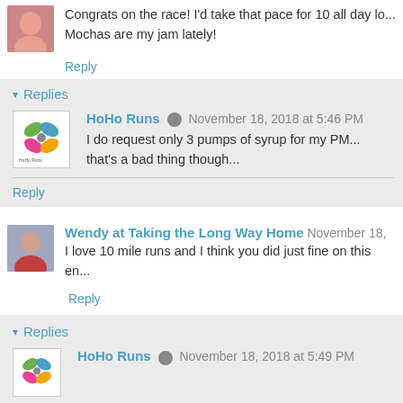Congrats on the race! I'd take that pace for 10 all day lo... Mochas are my jam lately!
Reply
Replies
HoHo Runs  November 18, 2018 at 5:46 PM
I do request only 3 pumps of syrup for my PM... that's a bad thing though...
Reply
Wendy at Taking the Long Way Home  November 18,
I love 10 mile runs and I think you did just fine on this en...
Reply
Replies
HoHo Runs  November 18, 2018 at 5:49 PM